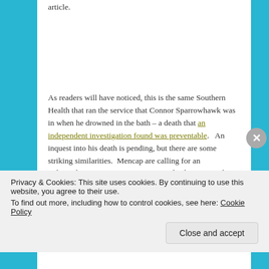article.
As readers will have noticed, this is the same Southern Health that ran the service that Connor Sparrowhawk was in when he drowned in the bath – a death that an independent investigation found was preventable.   An inquest into his death is pending, but there are some striking similarities.  Mencap are calling for an independent investigation into Nico's death.  Separately, Connor Sparrowhawk's family have called for a review of deaths in services provided by Southern Health – but his family
Privacy & Cookies: This site uses cookies. By continuing to use this website, you agree to their use.
To find out more, including how to control cookies, see here: Cookie Policy
Close and accept